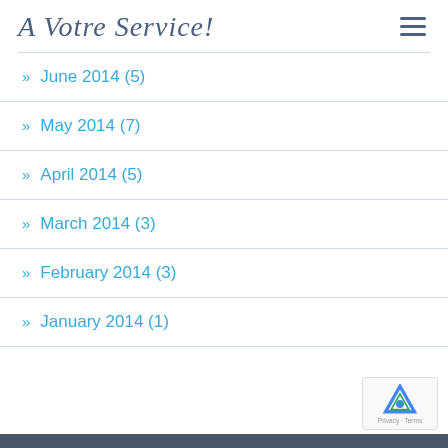A Votre Service!
June 2014 (5)
May 2014 (7)
April 2014 (5)
March 2014 (3)
February 2014 (3)
January 2014 (1)